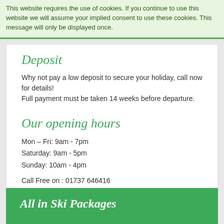This website requires the use of cookies. If you continue to use this website we will assume your implied consent to use these cookies. This message will only be displayed once.
Deposit
Why not pay a low deposit to secure your holiday, call now for details! Full payment must be taken 14 weeks before departure.
Our opening hours
Mon – Fri: 9am - 7pm
Saturday: 9am - 5pm
Sunday: 10am - 4pm
Call Free on : 01737 646416
All in Ski Packages